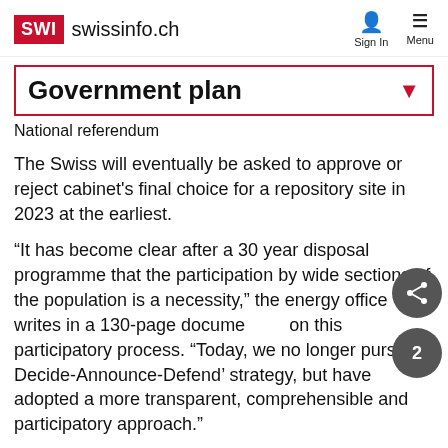SWI swissinfo.ch
Government plan
National referendum
The Swiss will eventually be asked to approve or reject cabinet's final choice for a repository site in 2023 at the earliest.
“It has become clear after a 30 year disposal programme that the participation by wide sections of the population is a necessity,” the energy office writes in a 130-page document on this participatory process. “Today, we no longer pursue a Decide-Announce-Defend’ strategy, but have adopted a more transparent, comprehensible and participatory approach.”